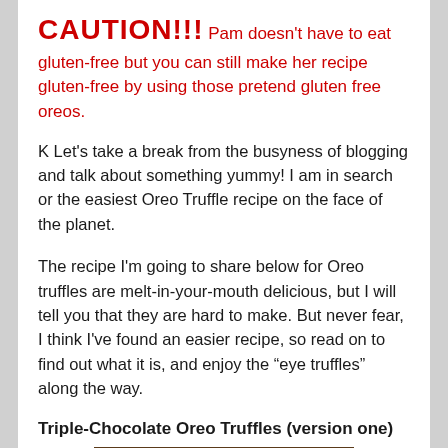CAUTION!!! Pam doesn't have to eat gluten-free but you can still make her recipe gluten-free by using those pretend gluten free oreos.
K Let's take a break from the busyness of blogging and talk about something yummy! I am in search or the easiest Oreo Truffle recipe on the face of the planet.
The recipe I'm going to share below for Oreo truffles are melt-in-your-mouth delicious, but I will tell you that they are hard to make. But never fear, I think I've found an easier recipe, so read on to find out what it is, and enjoy the “eye truffles” along the way.
Triple-Chocolate Oreo Truffles (version one)
[Figure (photo): Photo of chocolate truffles]